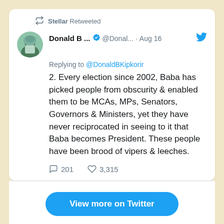[Figure (screenshot): Twitter/social media embedded tweet screenshot showing a retweet by 'Stellar' of a tweet by Donald B (@Donal...) on Aug 16, replying to @DonaldBKipkorir, with tweet text, engagement stats, and Twitter action buttons.]
Stellar Retweeted
Donald B ... @Donal... · Aug 16
Replying to @DonaldBKipkorir
2. Every election since 2002, Baba has picked people from obscurity & enabled them to be MCAs, MPs, Senators, Governors & Ministers, yet they have never reciprocated in seeing to it that Baba becomes President. These people have been brood of vipers & leeches.
201  3,315
View more on Twitter
Learn more about privacy on Twitter